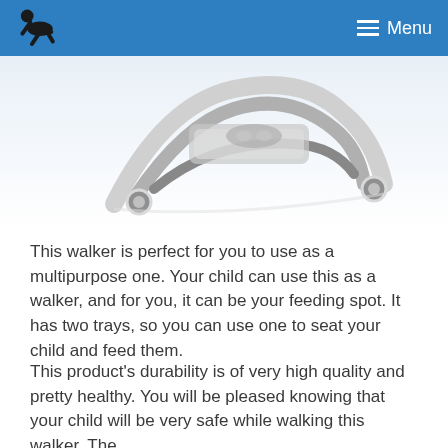Menu
[Figure (photo): Close-up photo of a white and gray baby walker product, showing its frame and wheels on a white reflective surface.]
This walker is perfect for you to use as a multipurpose one. Your child can use this as a walker, and for you, it can be your feeding spot. It has two trays, so you can use one to seat your child and feed them.
This product's durability is of very high quality and pretty healthy. You will be pleased knowing that your child will be very safe while walking this walker. The